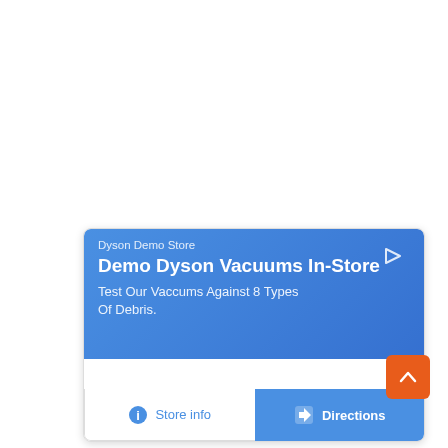[Figure (screenshot): A Google Maps-style advertisement card for 'Dyson Demo Store' with a blue gradient banner showing the headline 'Demo Dyson Vacuums In-Store' and body text 'Test Our Vaccums Against 8 Types Of Debris.' Below the banner are two buttons: 'Store info' (white background, blue text) and 'Directions' (blue background, white text). An orange scroll-to-top button appears at the bottom right.]